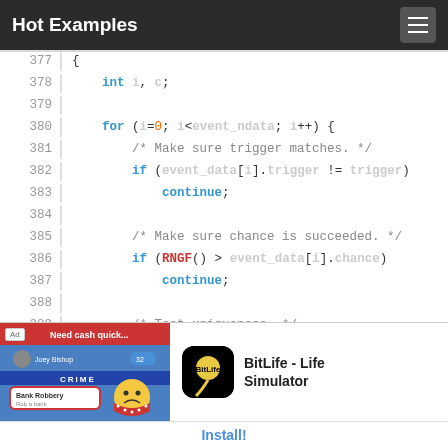Hot Examples
377  {
378      int i, c;
379
380      for (i=0; i<event_ndata; i++) {
381          /* Make sure trigger matches. */
382          if (event_data[i].trigger != trigger)
383              continue;
384
385          /* Make sure chance is succeeded. */
386          if (RNGF() > event_data[i].chance)
387              continue;
388
389          /* Test uniqueness. */
390          if ((event_data[i].flags & EVENT_FLAG
[Figure (screenshot): Advertisement banner for BitLife - Life Simulator app with Install! button]